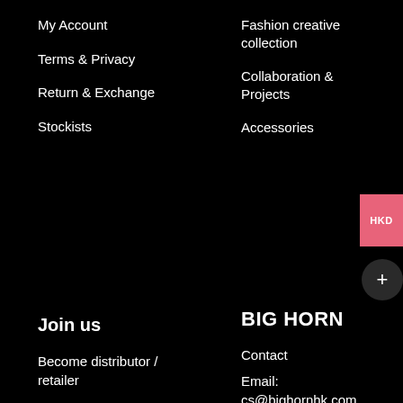My Account
Terms & Privacy
Return & Exchange
Stockists
Fashion creative collection
Collaboration & Projects
Accessories
Join us
Become distributor / retailer
BIG HORN
Contact
Email:
cs@bighornhk.com
[Figure (other): Social media icons: Facebook, Twitter, Instagram]
Subscribe to our newsletter for our latest info and